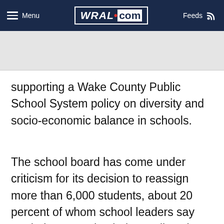Menu | WRAL.com | Feeds
supporting a Wake County Public School System policy on diversity and socio-economic balance in schools.
The school board has come under criticism for its decision to reassign more than 6,000 students, about 20 percent of whom school leaders say are being moved to balance diversity.